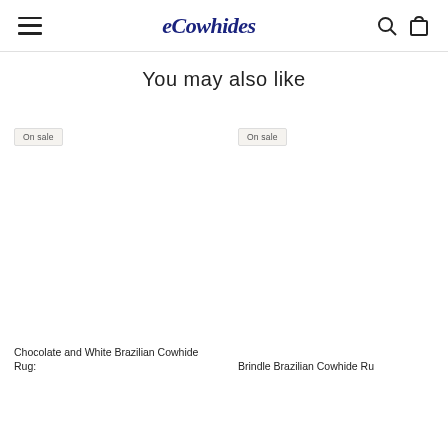eCowhides navigation header with hamburger menu, logo, search and cart icons
You may also like
On sale
On sale
Chocolate and White Brazilian Cowhide Rug:
Brindle Brazilian Cowhide Ru